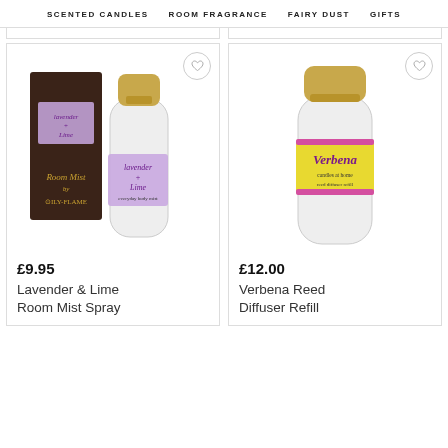SCENTED CANDLES   ROOM FRAGRANCE   FAIRY DUST   GIFTS
[Figure (photo): Lavender & Lime Room Mist Spray product — dark brown box and frosted glass bottle with gold cap and purple label]
£9.95
Lavender & Lime Room Mist Spray
[Figure (photo): Verbena Reed Diffuser Refill — tall frosted glass bottle with gold cap and yellow/pink label]
£12.00
Verbena Reed Diffuser Refill